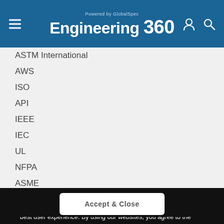Powered by GlobalSpec Engineering 360
ASTM International
AWS
ISO
API
IEEE
IEC
UL
NFPA
ASME
DIN
See All
GlobalSpec websites place cookies on your device to give you the best user experience. By using our websites, you agree to the placement of these cookies. To learn more, read our Privacy Policy
Accept & Close